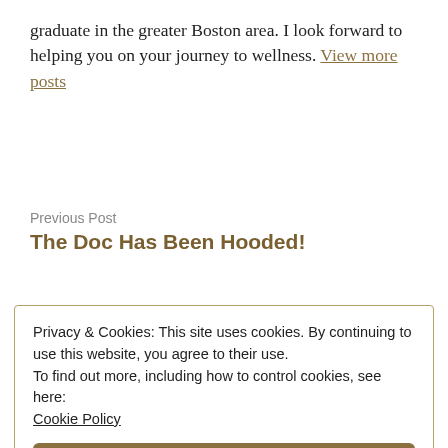graduate in the greater Boston area. I look forward to helping you on your journey to wellness. View more posts
Previous Post
The Doc Has Been Hooded!
Privacy & Cookies: This site uses cookies. By continuing to use this website, you agree to their use.
To find out more, including how to control cookies, see here: Cookie Policy
Close and accept